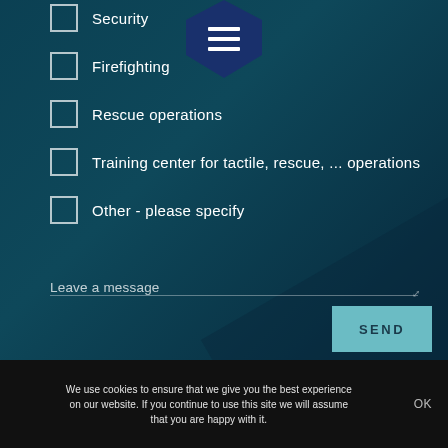[Figure (screenshot): Navigation menu icon (hamburger menu) in dark blue pentagon/shield shape at top center]
Security
Firefighting
Rescue operations
Training center for tactile, rescue, ... operations
Other - please specify
Leave a message
SEND
We use cookies to ensure that we give you the best experience on our website. If you continue to use this site we will assume that you are happy with it.
OK